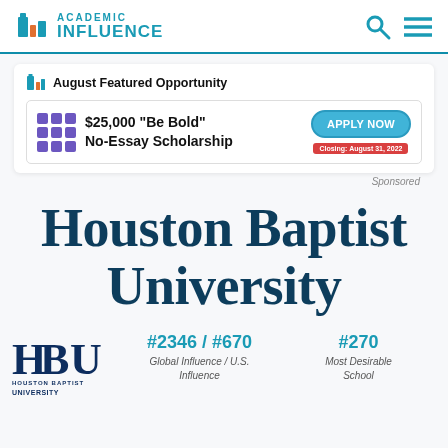[Figure (logo): Academic Influence logo with teal 'i' icon and text 'ACADEMIC INFLUENCE']
[Figure (infographic): August Featured Opportunity banner: $25,000 'Be Bold' No-Essay Scholarship with Apply Now button, Closing August 31, 2022]
Sponsored
Houston Baptist University
[Figure (logo): HBU Houston Baptist University logo]
#2346 / #670 Global Influence / U.S. Influence
#270 Most Desirable School